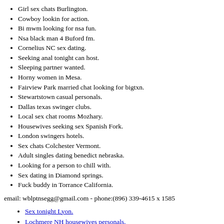Girl sex chats Burlington.
Cowboy lookin for action.
Bi mwm looking for nsa fun.
Nsa black man 4 Buford fm.
Cornelius NC sex dating.
Seeking anal tonight can host.
Sleeping partner wanted.
Horny women in Mesa.
Fairview Park married chat looking for bigtxn.
Stewartstown casual personals.
Dallas texas swinger clubs.
Local sex chat rooms Mozhary.
Housewives seeking sex Spanish Fork.
London swingers hotels.
Sex chats Colchester Vermont.
Adult singles dating benedict nebraska.
Looking for a person to chill with.
Sex dating in Diamond springs.
Fuck buddy in Torrance California.
email: wblptnsegg@gmail.com - phone:(896) 339-4615 x 1585
Sex tonight Lyon.
Lochmere NH housewives personals.
Free phone sex chat Rome.